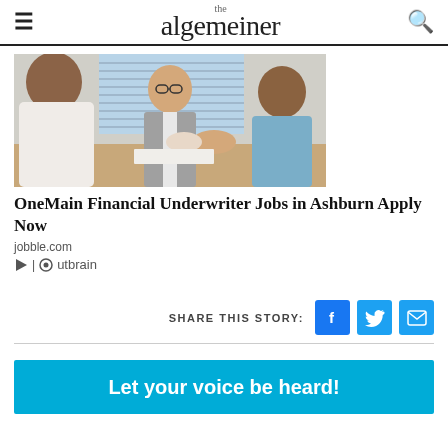the algemeiner
[Figure (photo): Business meeting: a man in suit shaking hands with a woman across a desk, another woman visible from behind]
OneMain Financial Underwriter Jobs in Ashburn Apply Now
jobble.com
Outbrain
SHARE THIS STORY:
Let your voice be heard!